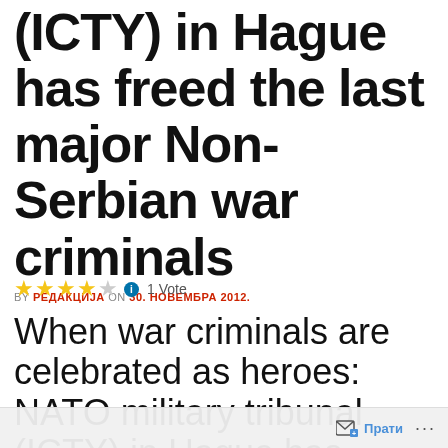(ICTY) in Hague has freed the last major Non-Serbian war criminals
BY РЕДАКЦИЈА ON 30. НОВЕМБРА 2012.
★★★★☆ ℹ 1 Vote
When war criminals are celebrated as heroes: NATO military tribunal (ICTY) in Hague has freed the last major Non-Serbian war criminals